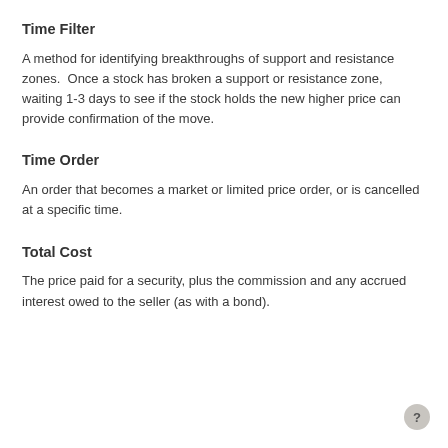Time Filter
A method for identifying breakthroughs of support and resistance zones.  Once a stock has broken a support or resistance zone, waiting 1-3 days to see if the stock holds the new higher price can provide confirmation of the move.
Time Order
An order that becomes a market or limited price order, or is cancelled at a specific time.
Total Cost
The price paid for a security, plus the commission and any accrued interest owed to the seller (as with a bond).